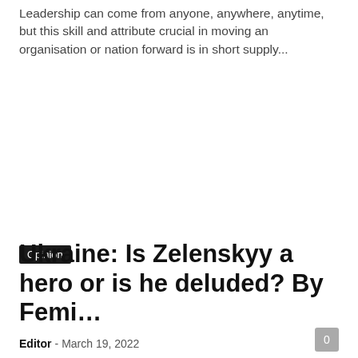Leadership can come from anyone, anywhere, anytime, but this skill and attribute crucial in moving an organisation or nation forward is in short supply...
Opinion
Ukraine: Is Zelenskyy a hero or is he deluded? By Femi…
Editor - March 19, 2022